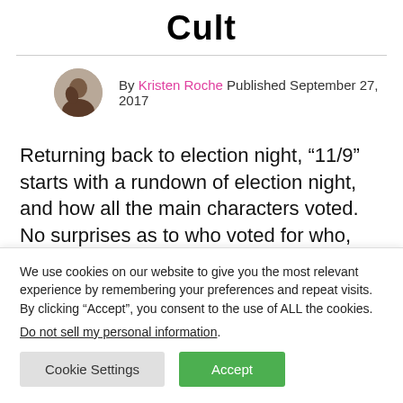Cult
By Kristen Roche Published September 27, 2017
Returning back to election night, “11/9” starts with a rundown of election night, and how all the main characters voted.  No surprises as to who voted for who, nor that Winter (Billie Lourd) snapped a selfie of her
We use cookies on our website to give you the most relevant experience by remembering your preferences and repeat visits. By clicking “Accept”, you consent to the use of ALL the cookies.
Do not sell my personal information.
Cookie Settings
Accept